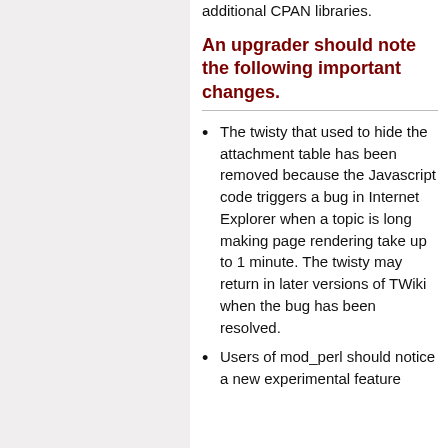additional CPAN libraries.
An upgrader should note the following important changes.
The twisty that used to hide the attachment table has been removed because the Javascript code triggers a bug in Internet Explorer when a topic is long making page rendering take up to 1 minute. The twisty may return in later versions of TWiki when the bug has been resolved.
Users of mod_perl should notice a new experimental feature